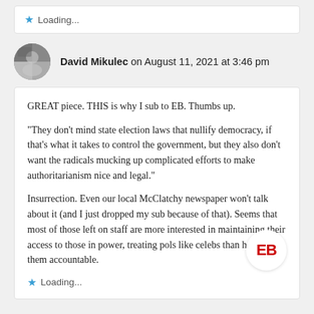Loading...
David Mikulec on August 11, 2021 at 3:46 pm
GREAT piece. THIS is why I sub to EB. Thumbs up.

"They don't mind state election laws that nullify democracy, if that's what it takes to control the government, but they also don't want the radicals mucking up complicated efforts to make authoritarianism nice and legal."

Insurrection. Even our local McClatchy newspaper won't talk about it (and I just dropped my sub because of that). Seems that most of those left on staff are more interested in maintaining their access to those in power, treating pols like celebs than holding them accountable.
Loading...